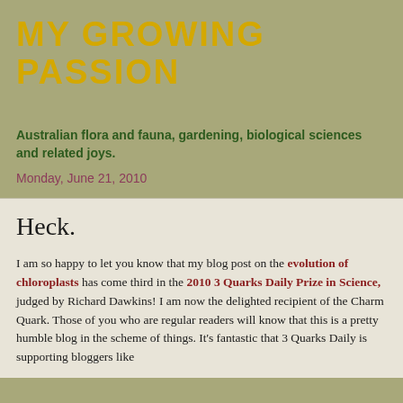MY GROWING PASSION
Australian flora and fauna, gardening, biological sciences and related joys.
Monday, June 21, 2010
Heck.
I am so happy to let you know that my blog post on the evolution of chloroplasts has come third in the 2010 3 Quarks Daily Prize in Science, judged by Richard Dawkins! I am now the delighted recipient of the Charm Quark. Those of you who are regular readers will know that this is a pretty humble blog in the scheme of things. It's fantastic that 3 Quarks Daily is supporting bloggers like